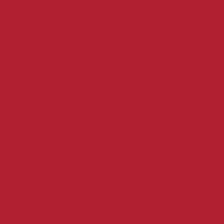[Figure (other): Solid dark red background filling the entire page, approximately color #b02030.]